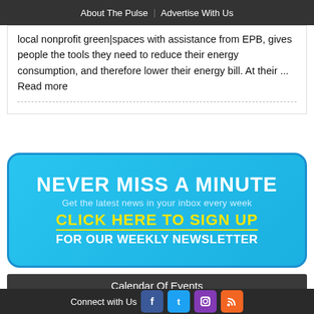About The Pulse  Advertise With Us
local nonprofit green|spaces with assistance from EPB, gives people the tools they need to reduce their energy consumption, and therefore lower their energy bill. At their ... Read more
[Figure (infographic): Newsletter signup banner: NEVER MISS A MINUTE - Get the latest news in your inbox every week - CLICK HERE TO SIGN UP FOR OUR WEEKLY NEWSLETTER]
Calendar Of Events
SAT  SUN  MON  TUE  WED  THU  FRI
Saturday
August 27, 2022
CONCERTS & LIVE MUSIC
Connect with Us